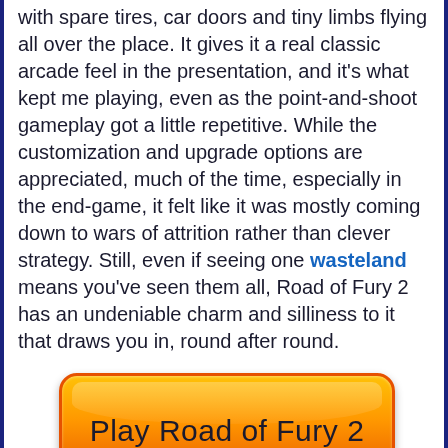with spare tires, car doors and tiny limbs flying all over the place. It gives it a real classic arcade feel in the presentation, and it's what kept me playing, even as the point-and-shoot gameplay got a little repetitive. While the customization and upgrade options are appreciated, much of the time, especially in the end-game, it felt like it was mostly coming down to wars of attrition rather than clever strategy. Still, even if seeing one wasteland means you've seen them all, Road of Fury 2 has an undeniable charm and silliness to it that draws you in, round after round.
[Figure (other): Orange gradient button with rounded corners and text 'Play Road of Fury 2']